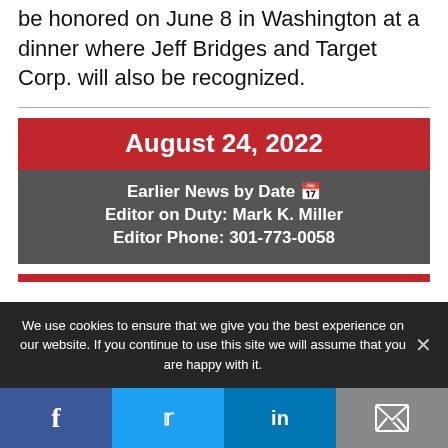be honored on June 8 in Washington at a dinner where Jeff Bridges and Target Corp. will also be recognized.
August 24, 2022
Earlier News by Date 🗓
Editor on Duty: Mark K. Miller
Editor Phone: 301-773-0058
We use cookies to ensure that we give you the best experience on our website. If you continue to use this site we will assume that you are happy with it.
f  Twitter  in  Email